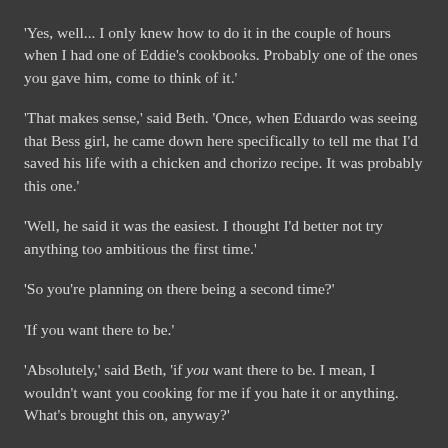'Yes, well... I only knew how to do it in the couple of hours when I had one of Eddie's cookbooks.  Probably one of the ones you gave him, come to think of it.'
'That makes sense,' said Beth.  'Once, when Eduardo was seeing that Bess girl, he came down here specifically to tell me that I'd saved his life with a chicken and chorizo recipe.  It was probably this one.'
'Well, he said it was the easiest.  I thought I'd better not try anything too ambitious the first time.'
'So you're planning on there being a second time?'
'If you want there to be.'
'Absolutely,' said Beth, 'if you want there to be.  I mean, I wouldn't want you cooking for me if you hate it or anything.  What's brought this on, anyway?'